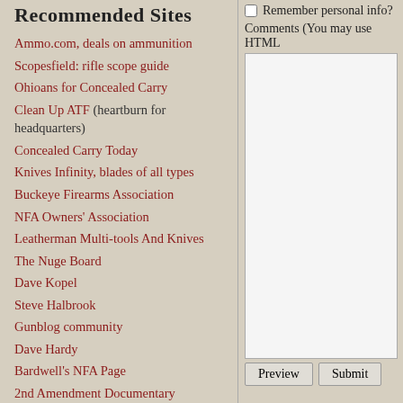Recommended Sites
Ammo.com, deals on ammunition
Scopesfield: rifle scope guide
Ohioans for Concealed Carry
Clean Up ATF (heartburn for headquarters)
Concealed Carry Today
Knives Infinity, blades of all types
Buckeye Firearms Association
NFA Owners' Association
Leatherman Multi-tools And Knives
The Nuge Board
Dave Kopel
Steve Halbrook
Gunblog community
Dave Hardy
Bardwell's NFA Page
2nd Amendment Documentary
Clayton Cramer
Constitutional Classics
Law Reviews
NRA news online
Sporting Outdoors blog
Remember personal info?
Comments (You may use HTML
Preview  Submit